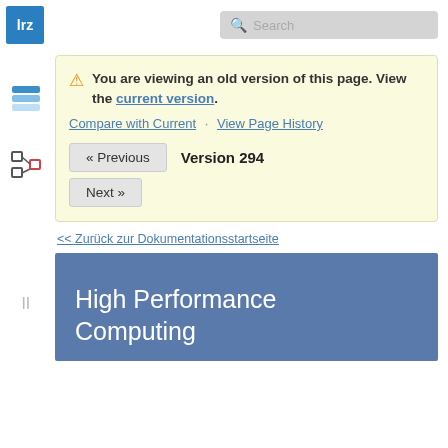[Figure (logo): LRZ blue square logo with white 'lrz' text]
[Figure (screenshot): Search bar with magnifying glass icon and placeholder 'Search']
[Figure (logo): Blue stacked layers icon (sidebar)]
[Figure (logo): Tree/hierarchy icon (sidebar)]
You are viewing an old version of this page. View the current version. Compare with Current · View Page History
« Previous   Version 294   Next »
<< Zurück zur Dokumentationsstartseite
High Performance Computing